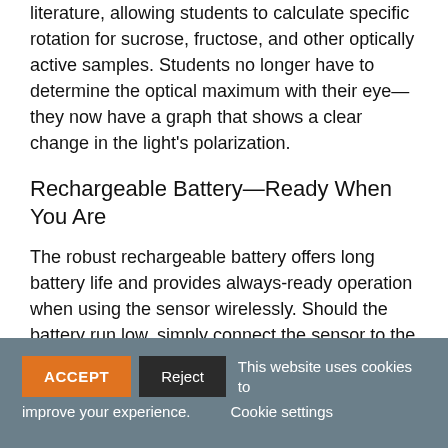literature, allowing students to calculate specific rotation for sucrose, fructose, and other optically active samples. Students no longer have to determine the optical maximum with their eye—they now have a graph that shows a clear change in the light's polarization.
Rechargeable Battery—Ready When You Are
The robust rechargeable battery offers long battery life and provides always-ready operation when using the sensor wirelessly. Should the battery run low, simply connect the sensor to the charging cable and keep on collecting—no interruptions or inconvenience to you or your
ACCEPT   Reject   This website uses cookies to improve your experience.   Cookie settings